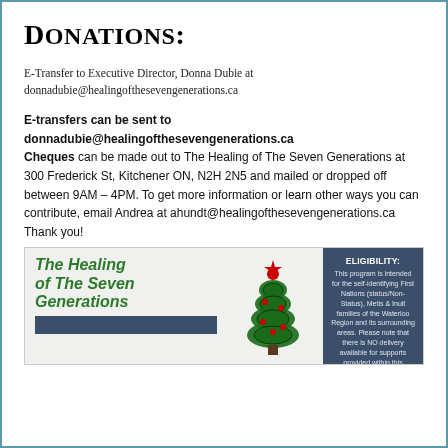Donations:
E-Transfer to Executive Director, Donna Dubie at donnadubie@healingofthesevengenerations.ca
E-transfers can be sent to donnadubie@healingofthesevengenerations.ca Cheques can be made out to The Healing of The Seven Generations at 300 Frederick St, Kitchener ON, N2H 2N5 and mailed or dropped off between 9AM – 4PM. To get more information or learn other ways you can contribute, email Andrea at ahundt@healingofthesevengenerations.ca Thank you!
[Figure (infographic): The Healing of The Seven Generations banner with green italic bold title text on light grey background, Christmas tree illustration in center, and dark navy eligibility box on right with white text stating eligibility criteria for First Nations, Metis and Inuit families.]